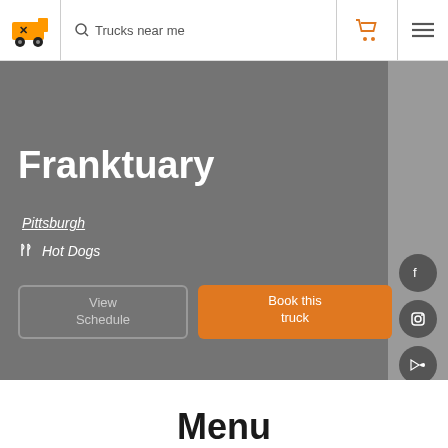Trucks near me
Franktuary
Pittsburgh
Hot Dogs
View Schedule
Book this truck
Menu